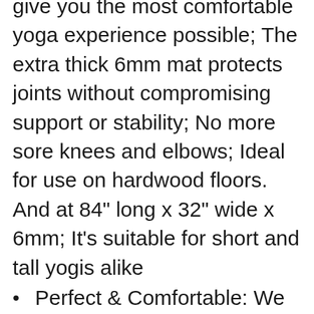give you the most comfortable yoga experience possible; The extra thick 6mm mat protects joints without compromising support or stability; No more sore knees and elbows; Ideal for use on hardwood floors. And at 84" long x 32" wide x 6mm; It's suitable for short and tall yogis alike
Perfect & Comfortable: We believe in creating premium quality products that are good for your body, mind, and spirit; The TPE yoga mat is kind to your body when you're doing yoga poses
Durable Design: This durable mat will hold up to the wear and tear of regular practice. Constructed using non tear technology, it won't rip, shred or stretch with use; Easy to wash